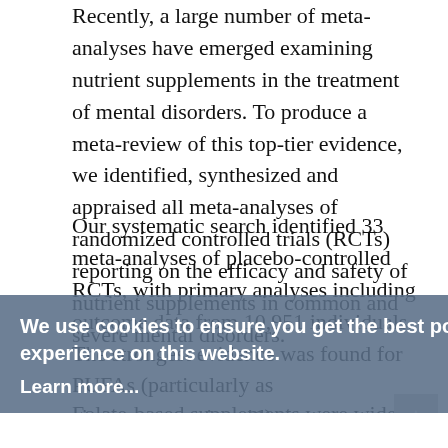Recently, a large number of meta-analyses have emerged examining nutrient supplements in the treatment of mental disorders. To produce a meta-review of this top-tier evidence, we identified, synthesized and appraised all meta-analyses of randomized controlled trials (RCTs) reporting on the efficacy and safety of nutrient supplements in common and severe mental disorders.
Our systematic search identified 33 meta-analyses of placebo-controlled RCTs, with primary analyses including outcome data from 10,951 individuals. The strongest evidence was found for PUFAs (particularly as eicosapentaenoic acid) as an adjunctive treatment for depression. More nascent evidence suggested that PUFAs may also be beneficial for attention-deficit/hyperactivity disorder, whereas there was no evidence for schizophrenia.
Folate-based supplements were widely researched as adjunctive treatments for depression and schizophrenia